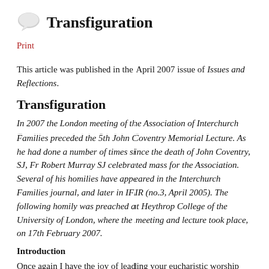Transfiguration
Print
This article was published in the April 2007 issue of Issues and Reflections.
Transfiguration
In 2007 the London meeting of the Association of Interchurch Families preceded the 5th John Coventry Memorial Lecture. As he had done a number of times since the death of John Coventry, SJ, Fr Robert Murray SJ celebrated mass for the Association. Several of his homilies have appeared in the Interchurch Families journal, and later in IFIR (no.3, April 2005). The following homily was preached at Heythrop College of the University of London, where the meeting and lecture took place, on 17th February 2007.
Introduction
Once again I have the joy of leading your eucharistic worship today. The first time was in 1999, when I was invited to stand unworthily in the place of John Coventry. My last time was two years ago, to speak